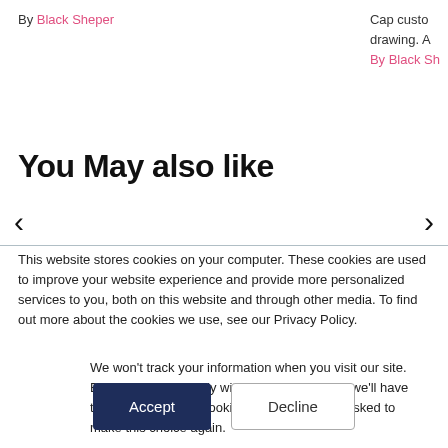By Black Sheper
Cap custo drawing. A By Black Sh
You May also like
This website stores cookies on your computer. These cookies are used to improve your website experience and provide more personalized services to you, both on this website and through other media. To find out more about the cookies we use, see our Privacy Policy.
We won't track your information when you visit our site. But in order to comply with your preferences, we'll have to use just one tiny cookie so that you're not asked to make this choice again.
Accept
Decline